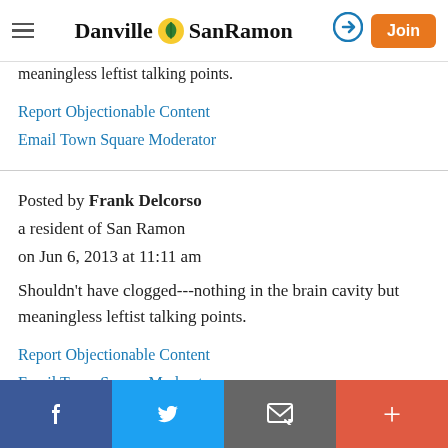Danville SanRamon — navigation header with hamburger menu, logo, login arrow, and Join button
meaningless leftist talking points.
Report Objectionable Content
Email Town Square Moderator
Posted by Frank Delcorso
a resident of San Ramon
on Jun 6, 2013 at 11:11 am
Shouldn't have clogged---nothing in the brain cavity but meaningless leftist talking points.
Report Objectionable Content
Email Town Square Moderator
f  Twitter  Email  +